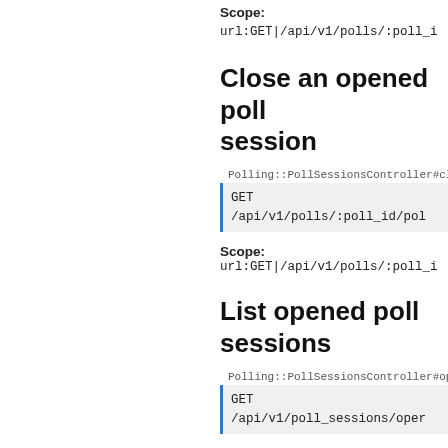Scope:
url:GET|/api/v1/polls/:poll_i
Close an opened poll session
Polling::PollSessionsController#close
GET
/api/v1/polls/:poll_id/pol
Scope:
url:GET|/api/v1/polls/:poll_i
List opened poll sessions
Polling::PollSessionsController#opened
GET
/api/v1/poll_sessions/oper
Scope:
url:GET|/api/v1/poll_sessions
A paginated list of all opened poll sessions available to the current